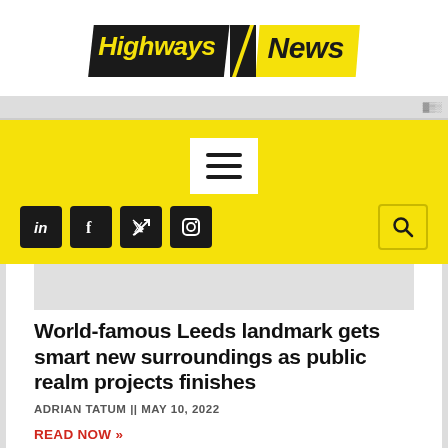[Figure (logo): Highways News logo — 'Highways' in yellow on black diagonal banner, slash divider, 'News' in black on yellow diagonal banner]
[Figure (screenshot): Partial website navigation screenshot showing yellow background toolbar with hamburger menu icon and social media icons (LinkedIn, Facebook, Twitter, Instagram) plus search icon]
World-famous Leeds landmark gets smart new surroundings as public realm projects finishes
ADRIAN TATUM || MAY 10, 2022
READ NOW »